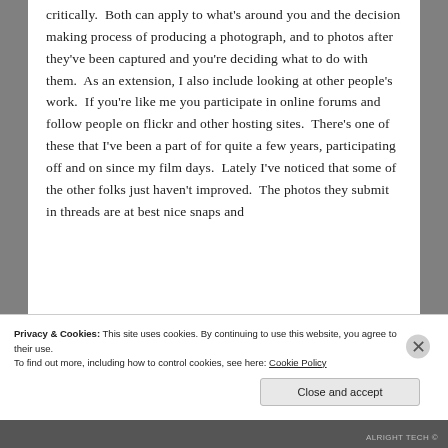critically.  Both can apply to what's around you and the decision making process of producing a photograph, and to photos after they've been captured and you're deciding what to do with them.  As an extension, I also include looking at other people's work.  If you're like me you participate in online forums and follow people on flickr and other hosting sites.  There's one of these that I've been a part of for quite a few years, participating off and on since my film days.  Lately I've noticed that some of the other folks just haven't improved.  The photos they submit in threads are at best nice snaps and
Privacy & Cookies: This site uses cookies. By continuing to use this website, you agree to their use.
To find out more, including how to control cookies, see here: Cookie Policy
Close and accept